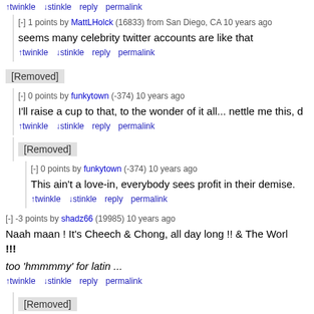twinkle stinkle reply permalink (top actions)
[-] 1 points by MattLHolck (16833) from San Diego, CA 10 years ago
seems many celebrity twitter accounts are like that
twinkle stinkle reply permalink
[Removed]
[-] 0 points by funkytown (-374) 10 years ago
I'll raise a cup to that, to the wonder of it all... nettle me this, d
twinkle stinkle reply permalink
[Removed]
[-] 0 points by funkytown (-374) 10 years ago
This ain't a love-in, everybody sees profit in their demise.
twinkle stinkle reply permalink
[-] -3 points by shadz66 (19985) 10 years ago
Naah maan ! It's Cheech & Chong, all day long !! & The Worl !!!
too 'hmmmmy' for latin ...
twinkle stinkle reply permalink
[Removed]
[-] -3 points by shadz66 (19985) 10 years ago